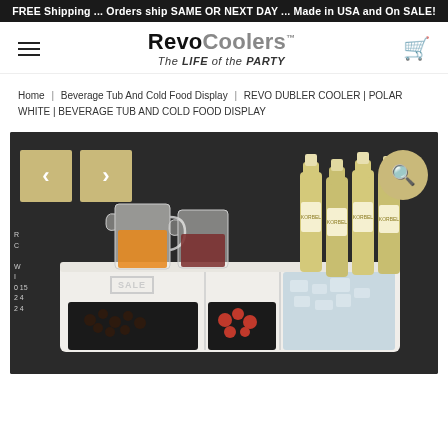FREE Shipping ... Orders ship SAME OR NEXT DAY ... Made in USA and On SALE!
[Figure (logo): RevoCoolers logo with tagline 'The LIFE of the PARTY']
Home | Beverage Tub And Cold Food Display | REVO DUBLER COOLER | POLAR WHITE | BEVERAGE TUB AND COLD FOOD DISPLAY
[Figure (photo): Product photo of a white beverage tub and cold food display filled with ice, champagne bottles, drink pitchers, and food compartments with berries on a dark background]